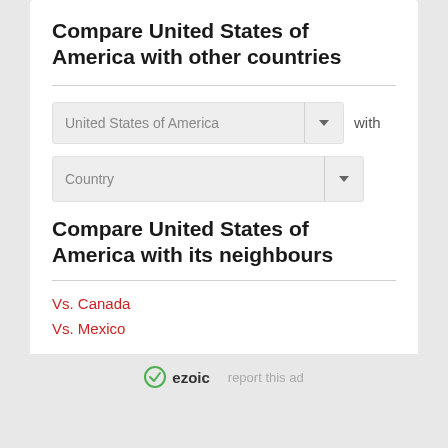Compare United States of America with other countries
United States of America [dropdown] with
Country [dropdown]
Compare United States of America with its neighbours
Vs. Canada
Vs. Mexico
ezoic   report this ad